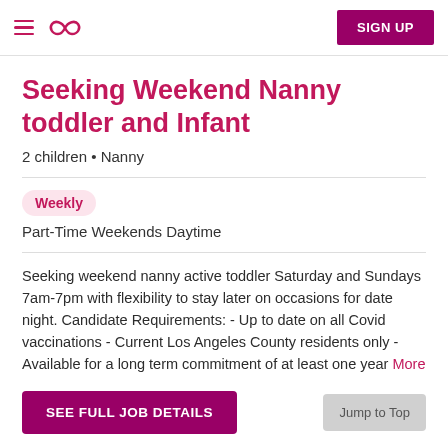≡ [logo] SIGN UP
Seeking Weekend Nanny toddler and Infant
2 children • Nanny
Weekly
Part-Time Weekends Daytime
Seeking weekend nanny active toddler Saturday and Sundays 7am-7pm with flexibility to stay later on occasions for date night. Candidate Requirements: - Up to date on all Covid vaccinations - Current Los Angeles County residents only - Available for a long term commitment of at least one year More
SEE FULL JOB DETAILS
Jump to Top